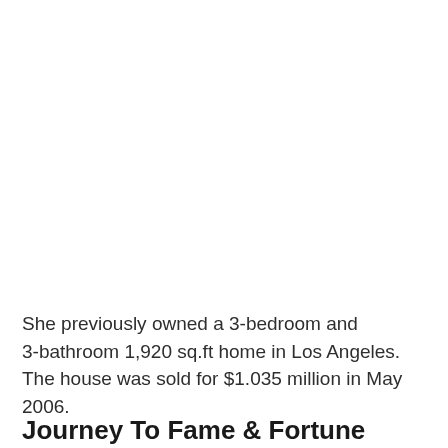She previously owned a 3-bedroom and 3-bathroom 1,920 sq.ft home in Los Angeles. The house was sold for $1.035 million in May 2006.
Journey To Fame & Fortune